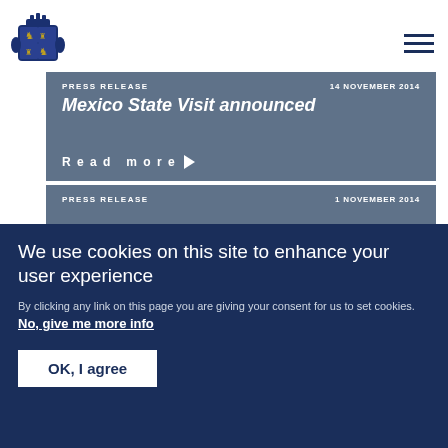[Figure (logo): UK Royal coat of arms logo in blue]
PRESS RELEASE    14 NOVEMBER 2014
Mexico State Visit announced
Read more ▶
PRESS RELEASE    1 NOVEMBER 2014
We use cookies on this site to enhance your user experience
By clicking any link on this page you are giving your consent for us to set cookies. No, give me more info
OK, I agree